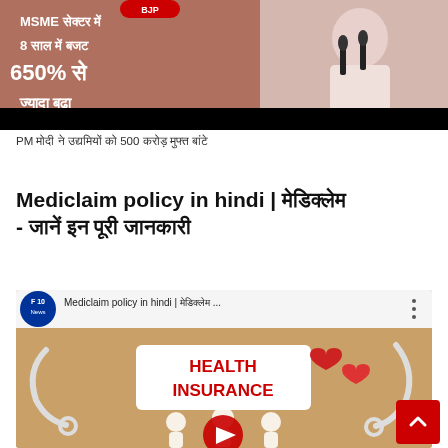[Figure (screenshot): News thumbnail image with text in Hindi about MSME sector budget increasing 650% in 8 years, with a person at a podium with microphones. Lower portion is black bar.]
PM मोदी ने उद्यमियों को 500 करोड़ मुफ्त बांटे
Mediclaim policy in hindi | मेडिक्लेम - जानें इन पूरी जानकारी
[Figure (screenshot): YouTube video thumbnail for 'Mediclaim policy in hindi' from F10 News channel, showing a health insurance themed image with stethoscopes, red heart shapes, paper family cutouts, and HEALTH INSURANCE text. Red play button visible at bottom center.]